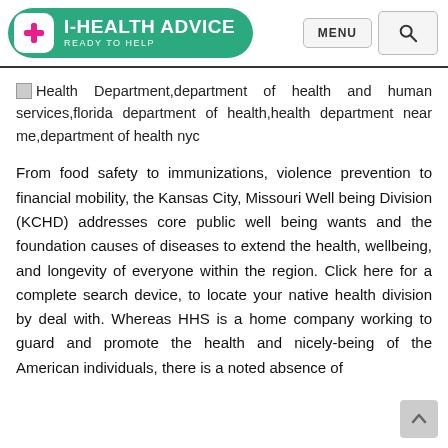[Figure (logo): I-HEALTH ADVICE logo with pink cross icon on green pill-shaped background, READY TO HELP tagline, plus MENU button and search icon]
Health Department,department of health and human services,florida department of health,health department near me,department of health nyc
From food safety to immunizations, violence prevention to financial mobility, the Kansas City, Missouri Well being Division (KCHD) addresses core public well being wants and the foundation causes of diseases to extend the health, wellbeing, and longevity of everyone within the region. Click here for a complete search device, to locate your native health division by deal with. Whereas HHS is a home company working to guard and promote the health and nicely-being of the American individuals, there is a noted absence of